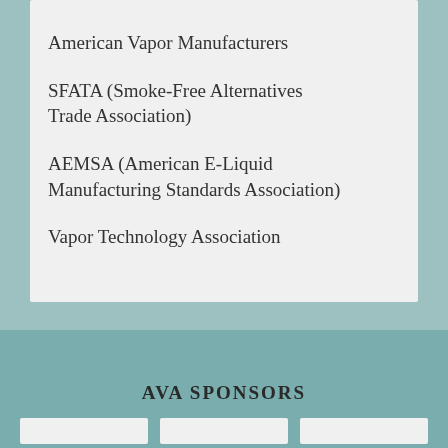American Vapor Manufacturers
SFATA (Smoke-Free Alternatives Trade Association)
AEMSA (American E-Liquid Manufacturing Standards Association)
Vapor Technology Association
AVA SPONSORS